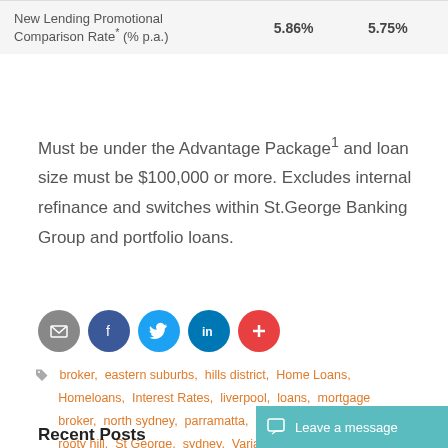|  |  |  |
| --- | --- | --- |
| New Lending Promotional Comparison Rate* (% p.a.) | 5.86% | 5.75% |
Must be under the Advantage Package¹ and loan size must be $100,000 or more. Excludes internal refinance and switches within St.George Banking Group and portfolio loans.
[Figure (infographic): Social share buttons: email (grey), facebook (dark blue), twitter (light blue), linkedin (dark teal), more/plus (orange-red)]
broker, eastern suburbs, hills district, Home Loans, Homeloans, Interest Rates, liverpool, loans, mortgage broker, north sydney, parramatta, penrith, Refinance, rooty hill, St George, sydney, Variable Rate, wakeley
Recent Posts